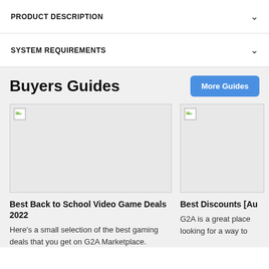PRODUCT DESCRIPTION
SYSTEM REQUIREMENTS
Buyers Guides
[Figure (screenshot): Broken image placeholder for Best Back to School Video Game Deals 2022 article thumbnail]
Best Back to School Video Game Deals 2022
Here's a small selection of the best gaming deals that you get on G2A Marketplace.
[Figure (screenshot): Broken image placeholder for Best Discounts article thumbnail]
Best Discounts [Au
G2A is a great place looking for a way to